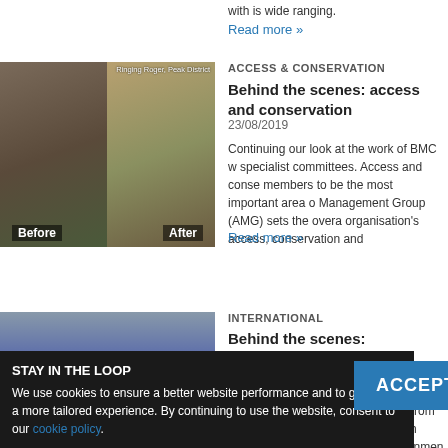with is wide ranging.
Read more »
[Figure (photo): Before and after photo of Ringing Roger, Peak District trail restoration. Left panel shows eroded path before, right panel shows repaired stone path after.]
ACCESS & CONSERVATION
Behind the scenes: access and conservation
23/08/2019
Continuing our look at the work of BMC w specialist committees. Access and conse members to be the most important area o Management Group (AMG) sets the overa organisation's access, conservation and
Read more »
[Figure (photo): Group of mountaineers in orange and red jackets in snowy mountain environment.]
INTERNATIONAL
Behind the scenes: international mountainee
08/08/2019
Continuing our look at the work of BMC w specialist committees. showcas from around the world, supporting British expeditions, lobbying foreign governmen paths of global climbing and mountainee Committee is an organisation
STAY IN THE LOOP
We use cookies to ensure a better website performance and to give you a more tailored experience. By continuing to use the website, consent to our cookie policy.
ACCEPT